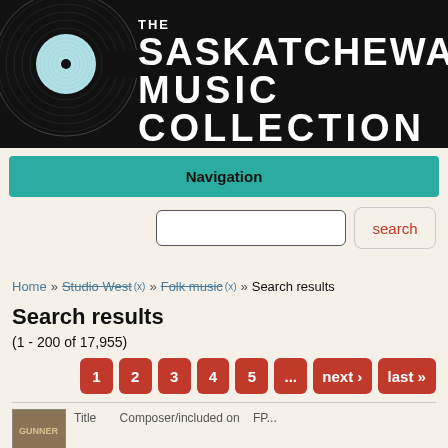[Figure (logo): The Saskatchewan Music Collection logo with vinyl record graphic on black background]
Navigation
search
Home » Studio West (x) » Folk music (x) » Search results
Search results
(1 - 200 of 17,955)
1  2  3  4  5  ...  next ›  last »
[Figure (photo): Small thumbnail image of an album cover, partially visible at bottom]
Title   Composer/included on   FP...